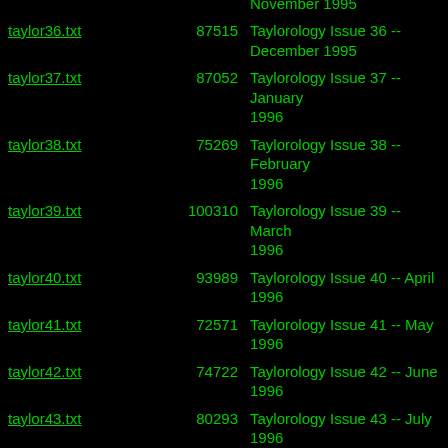taylor35.txt  77158  Taylorology Issue 35 -- November 1995
taylor36.txt  87515  Taylorology Issue 36 -- December 1995
taylor37.txt  87052  Taylorology Issue 37 -- January 1996
taylor38.txt  75269  Taylorology Issue 38 -- February 1996
taylor39.txt  100310  Taylorology Issue 39 -- March 1996
taylor40.txt  93989  Taylorology Issue 40 -- April 1996
taylor41.txt  72571  Taylorology Issue 41 -- May 1996
taylor42.txt  74722  Taylorology Issue 42 -- June 1996
taylor43.txt  80293  Taylorology Issue 43 -- July 1996
taylor44.txt  68231  Taylorology Issue 44 -- August 1996
taylor45.txt  76671  Taylorology Issue 45 -- September 1996
taylor46.txt  77031  Taylorology Issue 46 -- October